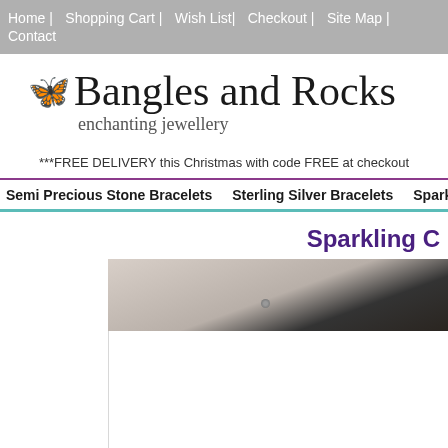Home | Shopping Cart | Wish List | Checkout | Site Map | Contact
Bangles and Rocks
enchanting jewellery
***FREE DELIVERY this Christmas with code FREE at checkout
Semi Precious Stone Bracelets   Sterling Silver Bracelets   Sparkling B
Sparkling C
[Figure (photo): Close-up photo of jewellery/bracelet items on a wooden or metallic surface, partially cropped]